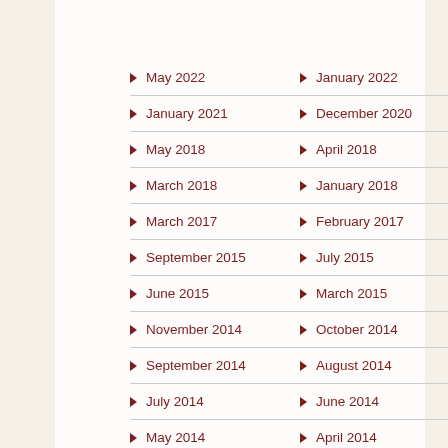May 2022
January 2022
January 2021
December 2020
May 2018
April 2018
March 2018
January 2018
March 2017
February 2017
September 2015
July 2015
June 2015
March 2015
November 2014
October 2014
September 2014
August 2014
July 2014
June 2014
May 2014
April 2014
March 2014
February 2014